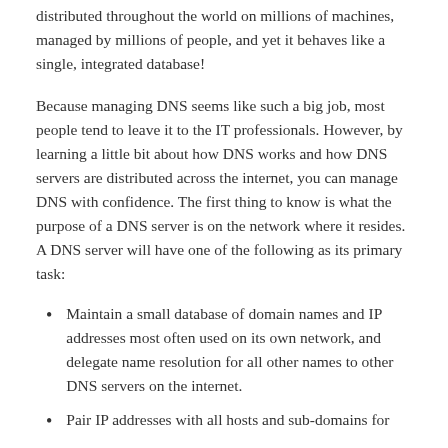distributed throughout the world on millions of machines, managed by millions of people, and yet it behaves like a single, integrated database!
Because managing DNS seems like such a big job, most people tend to leave it to the IT professionals. However, by learning a little bit about how DNS works and how DNS servers are distributed across the internet, you can manage DNS with confidence. The first thing to know is what the purpose of a DNS server is on the network where it resides. A DNS server will have one of the following as its primary task:
Maintain a small database of domain names and IP addresses most often used on its own network, and delegate name resolution for all other names to other DNS servers on the internet.
Pair IP addresses with all hosts and sub-domains for